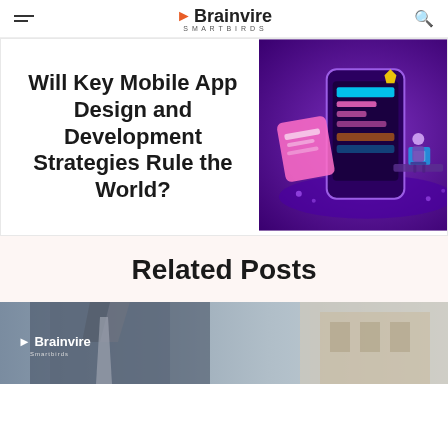Brainvire Smartbirds
[Figure (screenshot): Hero card with bold title 'Will Key Mobile App Design and Development Strategies Rule the World?' on the left and a purple isometric mobile app illustration on the right]
Related Posts
[Figure (photo): Brainvire branded photo showing a person in a suit, partially visible, with Brainvire logo overlaid in bottom-left]